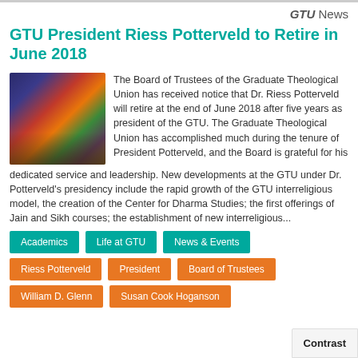GTU News
GTU President Riess Potterveld to Retire in June 2018
[Figure (photo): Photo of colorful flags and banners displayed in an indoor setting, likely at the GTU campus]
The Board of Trustees of the Graduate Theological Union has received notice that Dr. Riess Potterveld will retire at the end of June 2018 after five years as president of the GTU. The Graduate Theological Union has accomplished much during the tenure of President Potterveld, and the Board is grateful for his dedicated service and leadership. New developments at the GTU under Dr. Potterveld's presidency include the rapid growth of the GTU interreligious model, the creation of the Center for Dharma Studies; the first offerings of Jain and Sikh courses; the establishment of new interreligious...
Academics
Life at GTU
News & Events
Riess Potterveld
President
Board of Trustees
William D. Glenn
Susan Cook Hoganson